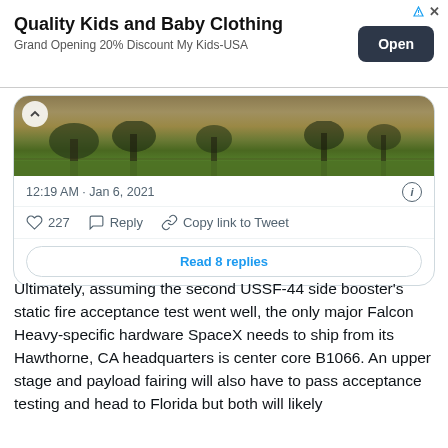[Figure (screenshot): Advertisement banner for Quality Kids and Baby Clothing with Open button]
[Figure (screenshot): Tweet card showing a photo of trees and grass field with timestamp 12:19 AM Jan 6, 2021, 227 likes, Reply, Copy link to Tweet, and Read 8 replies button]
Ultimately, assuming the second USSF-44 side booster's static fire acceptance test went well, the only major Falcon Heavy-specific hardware SpaceX needs to ship from its Hawthorne, CA headquarters is center core B1066. An upper stage and payload fairing will also have to pass acceptance testing and head to Florida but both will likely